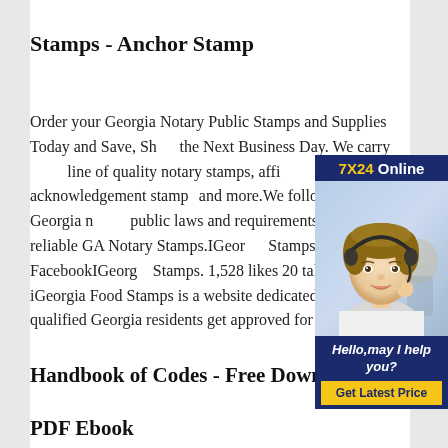Stamps - Anchor Stamp
Order your Georgia Notary Public Stamps and Supplies Today and Save, Sh... the Next Business Day. We carry line of quality notary stamps, affi... stamps, acknowledgement stamp... and more.We follow all Georgia n... public laws and requirements. Ex... reliable GA Notary Stamps.IGeor... Stamps - Home FacebookIGeorg... Stamps. 1,528 likes 20 talking ab... iGeorgia Food Stamps is a website dedicated to helping qualified Georgia residents get approved for food stamps.
[Figure (photo): Advertisement banner showing a woman wearing a headset with '7X24 Online' text, 'Hello, may I help you?' text, and a 'Get Latest Price' button on a dark navy blue background.]
Handbook of Codes - Free Download
PDF Ebook